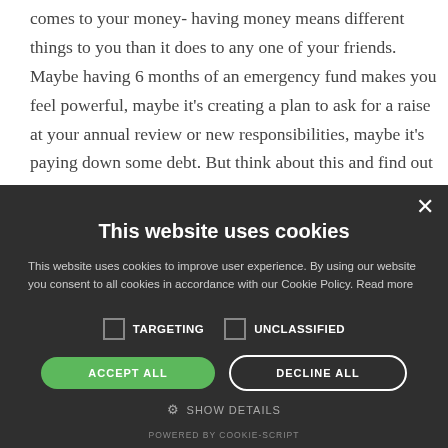comes to your money- having money means different things to you than it does to any one of your friends. Maybe having 6 months of an emergency fund makes you feel powerful, maybe it's creating a plan to ask for a raise at your annual review or new responsibilities, maybe it's paying down some debt. But think about this and find out
This website uses cookies
This website uses cookies to improve user experience. By using our website you consent to all cookies in accordance with our Cookie Policy. Read more
TARGETING   UNCLASSIFIED
ACCEPT ALL   DECLINE ALL
SHOW DETAILS
POWERED BY COOKIE-SCRIPT